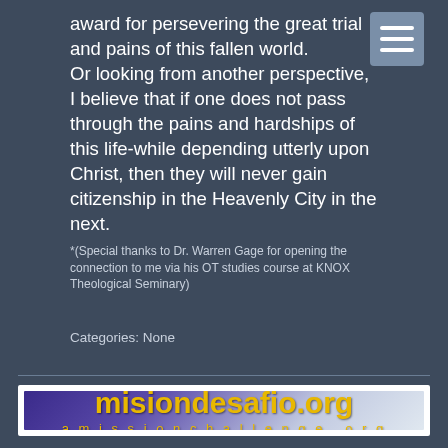award for persevering the great trial and pains of this fallen world.
Or looking from another perspective, I believe that if one does not pass through the pains and hardships of this life-while depending utterly upon Christ, then they will never gain citizenship in the Heavenly City in the next.
*(Special thanks to Dr. Warren Gage for opening the connection to me via his OT studies course at KNOX Theological Seminary)
Categories: None
[Figure (other): Banner image for misiondesafio.org / amissionchallenge.org with yellow text on purple/blue gradient background]